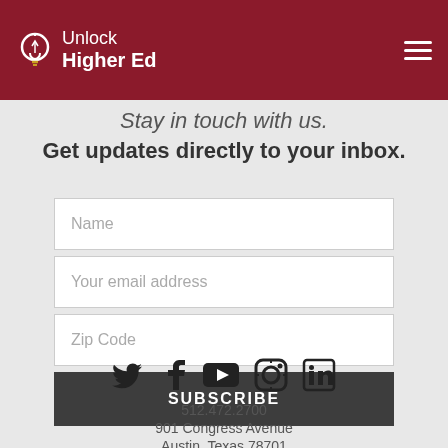Unlock Higher Ed
Stay in touch with us. Get updates directly to your inbox.
[Figure (screenshot): Web form with Name, Your email address, Zip Code fields and SUBSCRIBE button]
[Figure (infographic): Social media icons: Twitter, Facebook, YouTube, Instagram, LinkedIn]
512.472.2700
901 Congress Avenue
Austin, Texas 78701